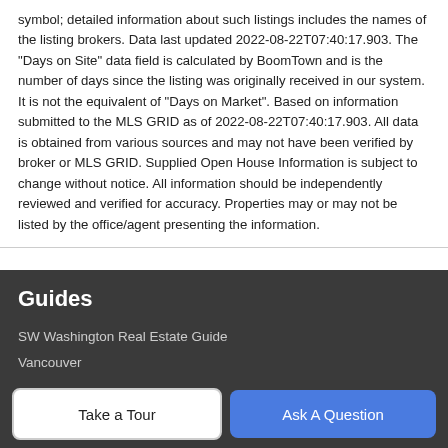symbol; detailed information about such listings includes the names of the listing brokers. Data last updated 2022-08-22T07:40:17.903. The "Days on Site" data field is calculated by BoomTown and is the number of days since the listing was originally received in our system. It is not the equivalent of "Days on Market". Based on information submitted to the MLS GRID as of 2022-08-22T07:40:17.903. All data is obtained from various sources and may not have been verified by broker or MLS GRID. Supplied Open House Information is subject to change without notice. All information should be independently reviewed and verified for accuracy. Properties may or may not be listed by the office/agent presenting the information.
Guides
SW Washington Real Estate Guide
Vancouver
Camas
Take a Tour
Ask A Question